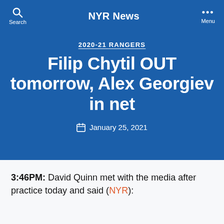NYR News
2020-21 RANGERS
Filip Chytil OUT tomorrow, Alex Georgiev in net
January 25, 2021
3:46PM: David Quinn met with the media after practice today and said (NYR):